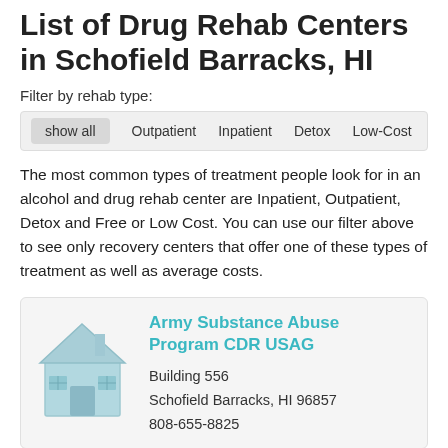List of Drug Rehab Centers in Schofield Barracks, HI
Filter by rehab type:
show all  Outpatient  Inpatient  Detox  Low-Cost
The most common types of treatment people look for in an alcohol and drug rehab center are Inpatient, Outpatient, Detox and Free or Low Cost. You can use our filter above to see only recovery centers that offer one of these types of treatment as well as average costs.
Army Substance Abuse Program CDR USAG
Building 556
Schofield Barracks, HI 96857
808-655-8825